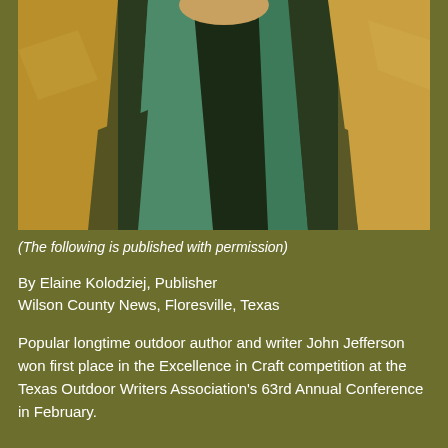[Figure (photo): A person wearing a teal/green jacket leaning against rocks outdoors, photographed in warm golden light.]
(The following is published with permission)
By Elaine Kolodziej, Publisher
Wilson County News, Floresville, Texas
Popular longtime outdoor author and writer John Jefferson won first place in the Excellence in Craft competition at the Texas Outdoor Writers Association's 63rd Annual Conference in February.